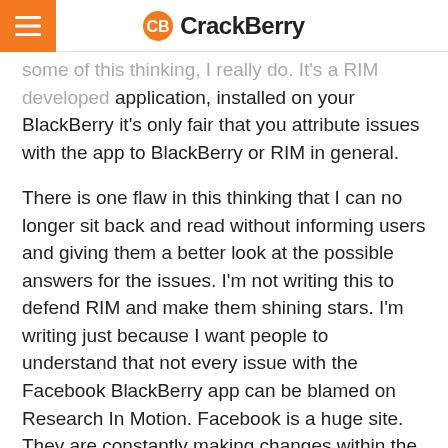CrackBerry
some of this thinking, I really do. It's a RIM developed application, installed on your BlackBerry it's only fair that you attribute issues with the app to BlackBerry or RIM in general.
There is one flaw in this thinking that I can no longer sit back and read without informing users and giving them a better look at the possible answers for the issues. I'm not writing this to defend RIM and make them shining stars. I'm writing just because I want people to understand that not every issue with the Facebook BlackBerry app can be blamed on Research In Motion. Facebook is a huge site. They are constantly making changes within the site itself and with that they often break things while fixing others. Some of it, they may not even realize. Now, look at this situation from a developer standpoint. You have everything up,